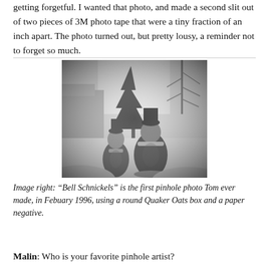getting forgetful. I wanted that photo, and made a second slit out of two pieces of 3M photo tape that were a tiny fraction of an inch apart. The photo turned out, but pretty lousy, a reminder not to forget so much.
[Figure (photo): Black and white pinhole photograph showing two Santa Claus / Bell Schnickels figurines in a snowy outdoor scene with trees and buildings in the background.]
Image right: “Bell Schnickels” is the first pinhole photo Tom ever made, in Febuary 1996, using a round Quaker Oats box and a paper negative.
Malin: Who is your favorite pinhole artist?